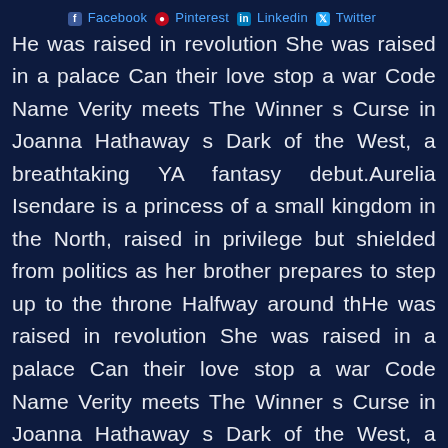Facebook Pinterest Linkedin Twitter
He was raised in revolution She was raised in a palace Can their love stop a war Code Name Verity meets The Winner s Curse in Joanna Hathaway s Dark of the West, a breathtaking YA fantasy debut.Aurelia Isendare is a princess of a small kingdom in the North, raised in privilege but shielded from politics as her brother prepares to step up to the throne Halfway around thHe was raised in revolution She was raised in a palace Can their love stop a war Code Name Verity meets The Winner s Curse in Joanna Hathaway s Dark of the West, a breathtaking YA fantasy debut.Aurelia Isendare